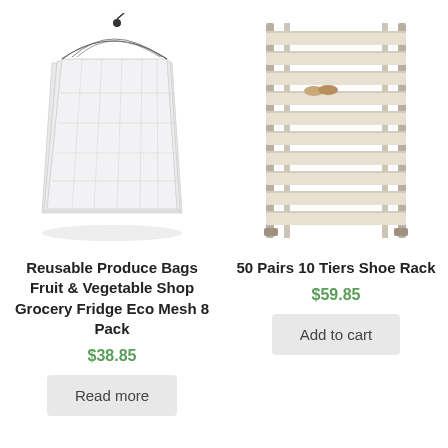[Figure (photo): Reusable mesh produce bags with drawstring ties, white/light grey fabric, multiple bags fanned out]
Reusable Produce Bags Fruit & Vegetable Shop Grocery Fridge Eco Mesh 8 Pack
$38.85
Read more
[Figure (photo): 10-tier shoe rack with metal frame and fabric shelves, beige/grey color, a pair of shoes visible on one shelf]
50 Pairs 10 Tiers Shoe Rack
$59.85
Add to cart